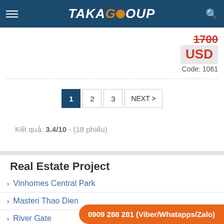TAKA GROUP
1700 USD
Code: 1061
1  2  3  NEXT >
Kết quả: 3.4/10 - (18 phiếu)
Real Estate Project
Vinhomes Central Park
Masteri Thao Dien
River Gate
Orchard Garden
0909 288 281 (Viber/Whatapps/Zalo)